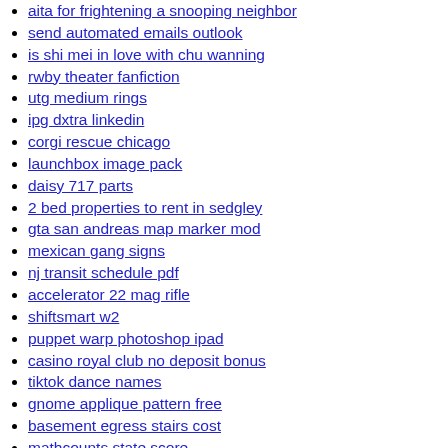aita for frightening a snooping neighbor
send automated emails outlook
is shi mei in love with chu wanning
rwby theater fanfiction
utg medium rings
ipg dxtra linkedin
corgi rescue chicago
launchbox image pack
daisy 717 parts
2 bed properties to rent in sedgley
gta san andreas map marker mod
mexican gang signs
nj transit schedule pdf
accelerator 22 mag rifle
shiftsmart w2
puppet warp photoshop ipad
casino royal club no deposit bonus
tiktok dance names
gnome applique pattern free
basement egress stairs cost
mathcounts state score
where is south padre island located
proud of my country quotes
rev control hub
portland parks and recreation